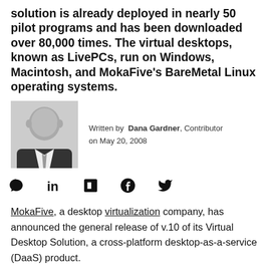solution is already deployed in nearly 50 pilot programs and has been downloaded over 80,000 times. The virtual desktops, known as LivePCs, run on Windows, Macintosh, and MokaFive's BareMetal Linux operating systems.
[Figure (photo): Black and white headshot photo of Dana Gardner, a bald man in a suit]
Written by Dana Gardner, Contributor
on May 20, 2008
[Figure (infographic): Social media sharing icons: comment, LinkedIn, Flipboard, Facebook, Twitter]
MokaFive, a desktop virtualization company, has announced the general release of v.10 of its Virtual Desktop Solution, a cross-platform desktop-as-a-service (DaaS) product.